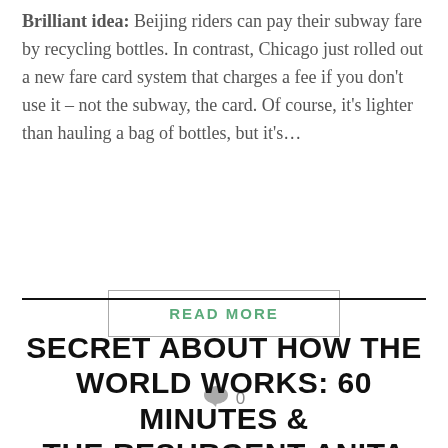Brilliant idea: Beijing riders can pay their subway fare by recycling bottles. In contrast, Chicago just rolled out a new fare card system that charges a fee if you don't use it – not the subway, the card. Of course, it's lighter than hauling a bag of bottles, but it's…
READ MORE
0
SECRET ABOUT HOW THE WORLD WORKS: 60 MINUTES & THE RESURGENT ANITA